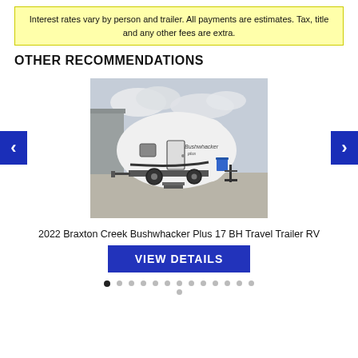Interest rates vary by person and trailer. All payments are estimates. Tax, title and any other fees are extra.
OTHER RECOMMENDATIONS
[Figure (photo): Photo of a 2022 Braxton Creek Bushwhacker Plus 17 BH Travel Trailer RV, white teardrop-style trailer parked on concrete with a building and cloudy sky in the background.]
2022 Braxton Creek Bushwhacker Plus 17 BH Travel Trailer RV
VIEW DETAILS